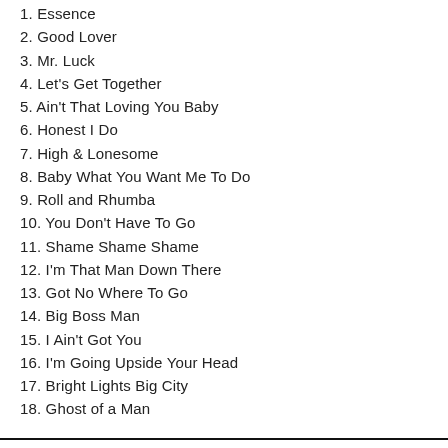1. Essence
2. Good Lover
3. Mr. Luck
4. Let's Get Together
5. Ain't That Loving You Baby
6. Honest I Do
7. High & Lonesome
8. Baby What You Want Me To Do
9. Roll and Rhumba
10. You Don't Have To Go
11. Shame Shame Shame
12. I'm That Man Down There
13. Got No Where To Go
14. Big Boss Man
15. I Ain't Got You
16. I'm Going Upside Your Head
17. Bright Lights Big City
18. Ghost of a Man